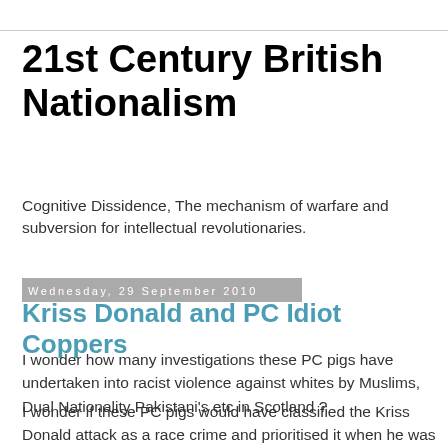21st Century British Nationalism
Cognitive Dissidence, The mechanism of warfare and subversion for intellectual revolutionaries.
Wednesday, 29 September 2010
Kriss Donald and PC Idiot Coppers
I wonder how many investigations these PC pigs have undertaken into racist violence against whites by Muslims, Dual Nationality Pakistani's etc in Scotland ?
I wonder if these PC pigs would have classified the Kriss Donald attack as a race crime and prioritised it when he was attacked ?
How many race crimes against whites are classified as hate